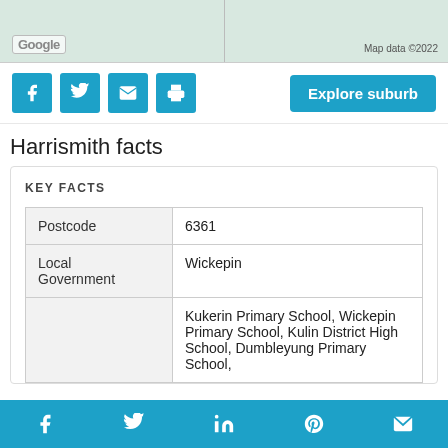[Figure (map): Google Maps screenshot showing a map area, split by a vertical divider. Google logo bottom-left, 'Map data ©2022' bottom-right.]
[Figure (infographic): Row of social sharing buttons (Facebook, Twitter, Email, Print) in blue, plus an 'Explore suburb' blue button on the right.]
Harrismith facts
| Postcode | 6361 |
| Local Government | Wickepin |
|  | Kukerin Primary School, Wickepin Primary School, Kulin District High School, Dumbleyung Primary School, |
Facebook  Twitter  LinkedIn  Pinterest  Email